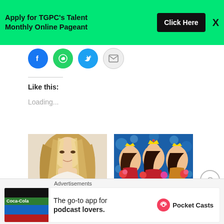[Figure (screenshot): Green advertisement banner: 'Apply for TGPC's Talent Monthly Online Pageant' with a black 'Click Here' button and X close icon]
[Figure (screenshot): Social sharing icons row: Facebook, WhatsApp, Twitter, Email circles]
Like this:
Loading...
[Figure (photo): Alexandra Miller - woman with long blonde/brown highlighted hair smiling]
Alexandra Miller wins
[Figure (photo): Ngo Ngoc Gia Han - three women in pageant gowns and crowns holding bouquets against blue bokeh background]
Ngo Ngoc Gia Han From
[Figure (screenshot): Pocket Casts advertisement: 'The go-to app for podcast lovers.' with Pocket Casts logo]